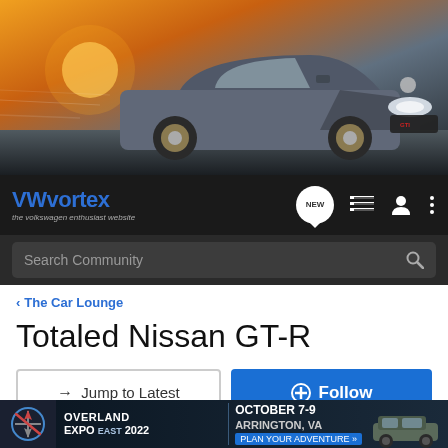[Figure (photo): Hero banner image of a grey Volkswagen GTI driving at speed on a road during sunset, with orange/golden sky in the background]
[Figure (logo): VWvortex logo - the volkswagen enthusiast website - in blue on dark navbar, with NEW chat bubble icon, list icon, user icon, and three-dot menu icon]
[Figure (screenshot): Dark search bar with 'Search Community' placeholder text and magnifying glass icon]
< The Car Lounge
Totaled Nissan GT-R
→ Jump to Latest
+ Follow
1 - 20 of 85 Posts
1 of 5
[Figure (infographic): Advertisement banner for Overland Expo East 2022, October 7-9, Arrington, VA with text 'Plan Your Adventure']